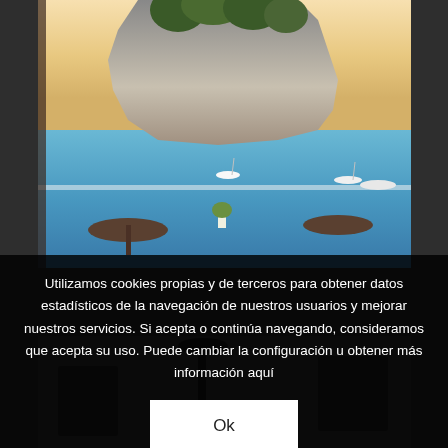[Figure (photo): Outdoor restaurant terrace with wicker chairs and round tables overlooking a turquoise bay with sailboats and a rocky cliff covered with pine trees, photographed at sunset.]
Utilizamos cookies propias y de terceros para obtener datos estadísticos de la navegación de nuestros usuarios y mejorar nuestros servicios. Si acepta o continúa navegando, consideramos que acepta su uso. Puede cambiar la configuración u obtener más información aquí
[Figure (photo): Bottom portion of a darkened interior photo partially visible behind the cookie consent overlay, showing dark furniture.]